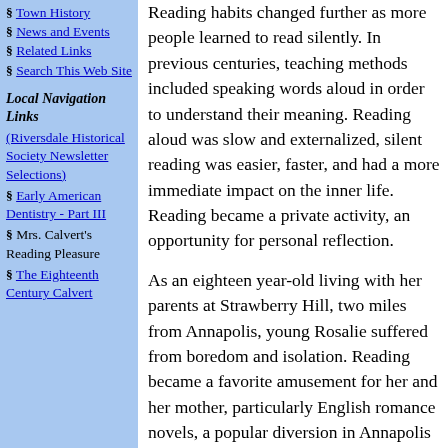§ Town History
§ News and Events
§ Related Links
§ Search This Web Site
Local Navigation Links
(Riversdale Historical Society Newsletter Selections)
§ Early American Dentistry - Part III
§ Mrs. Calvert's Reading Pleasure
§ The Eighteenth Century Calvert
Reading habits changed further as more people learned to read silently. In previous centuries, teaching methods included speaking words aloud in order to understand their meaning. Reading aloud was slow and externalized, silent reading was easier, faster, and had a more immediate impact on the inner life. Reading became a private activity, an opportunity for personal reflection.
As an eighteen year-old living with her parents at Strawberry Hill, two miles from Annapolis, young Rosalie suffered from boredom and isolation. Reading became a favorite amusement for her and her mother, particularly English romance novels, a popular diversion in Annapolis where bookshops were well-stocked. In a note written in 1796 to her brother, Charles, she complained that her mother had taken her current novel and was reading it day and night, even on Sunday. Mrs. Stier defended her action by stating she wasn't reading "for the pleasure of the very tender English